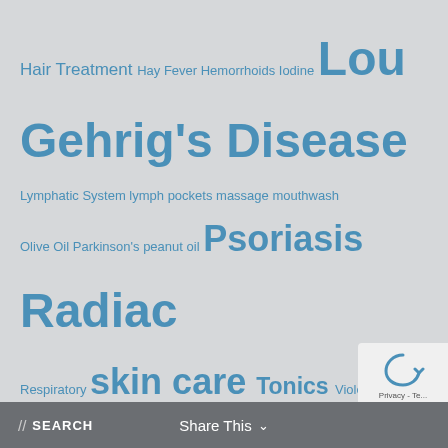Hair Treatment Hay Fever Hemorrhoids Iodine Lou Gehrig's Disease Lymphatic System lymph pockets massage mouthwash Olive Oil Parkinson's peanut oil Psoriasis Radiac Respiratory skin care Tonics Violet Ray vitamin d vitamin d-3 Wet Cell Battery
// RECENT POSTS
Are you looking for Healthier, Radiant Skin?
Finally, a Solution That's More Than Just Skin Deep
4 Effective Psoriasis Tips
The Healthy Oral Care Routine
Remove Your Body's Toxins the Cayce Way
// SEARCH   Share This ∨